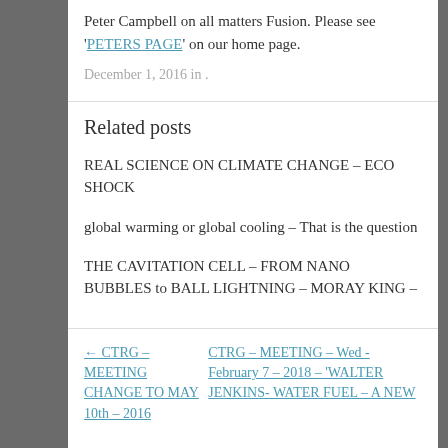Peter Campbell on all matters Fusion. Please see 'PETERS PAGE' on our home page.
December 1, 2016 in .
Related posts
REAL SCIENCE ON CLIMATE CHANGE – ECO SHOCK
global warming or global cooling – That is the question
THE CAVITATION CELL – FROM NANO BUBBLES to BALL LIGHTNING – MORAY KING –
← CTRG – MEETING CHANGE TO MAY 10th – 2016
CTRG – MEETING – Wed - February 7 – 2018 – 'WALTER JENKINS- WATER FUEL – A NEW